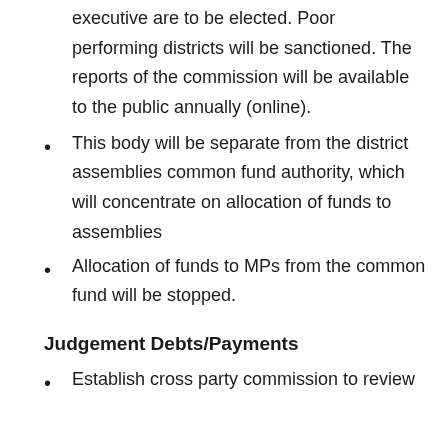executive are to be elected. Poor performing districts will be sanctioned. The reports of the commission will be available to the public annually (online).
This body will be separate from the district assemblies common fund authority, which will concentrate on allocation of funds to assemblies
Allocation of funds to MPs from the common fund will be stopped.
Judgement Debts/Payments
Establish cross party commission to review